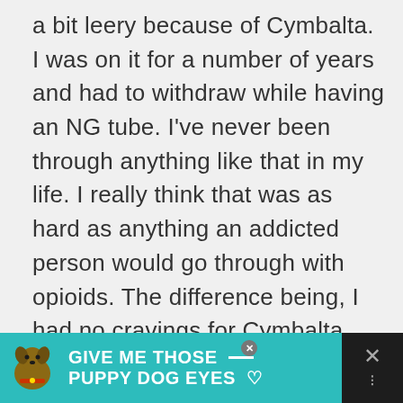a bit leery because of Cymbalta. I was on it for a number of years and had to withdraw while having an NG tube. I've never been through anything like that in my life. I really think that was as hard as anything an addicted person would go through with opioids. The difference being, I had no cravings for Cymbalta, thankfully. I don't know if I was ever warned about the addictive effects of Cymbalta. I know there are tons of lawsuits over that medication...
[Figure (other): Advertisement banner at the bottom of the page. Teal background with a dog image on the left and bold white text reading 'GIVE ME THOSE PUPPY DOG EYES' with a dash line and heart icon. Dark dismiss button on the right with X and dots icons.]